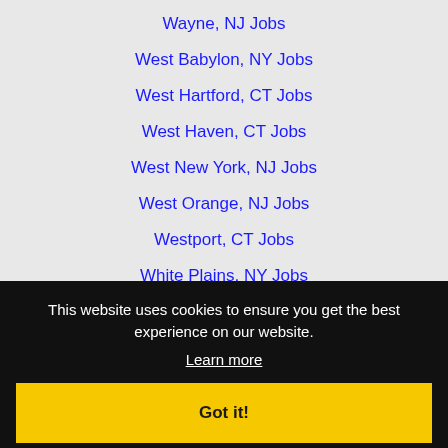Wayne, NJ Jobs
West Babylon, NY Jobs
West Hartford, CT Jobs
West Haven, CT Jobs
West New York, NJ Jobs
West Orange, NJ Jobs
Westport, CT Jobs
White Plains, NY Jobs
Yonkers, NY Jobs
This website uses cookies to ensure you get the best experience on our website.
Learn more
Got it!
Copyright 2019 Recruiter.com · All rights reserved · Powered by Recruiter.com